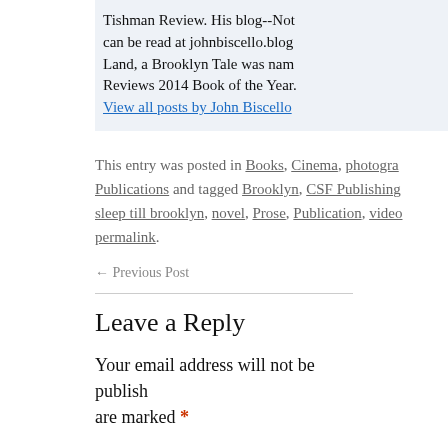Tishman Review. His blog--Not can be read at johnbiscello.blog Land, a Brooklyn Tale was nam Reviews 2014 Book of the Year.
View all posts by John Biscello
This entry was posted in Books, Cinema, photogra Publications and tagged Brooklyn, CSF Publishing sleep till brooklyn, novel, Prose, Publication, video permalink.
← Previous Post
Leave a Reply
Your email address will not be published. Required fields are marked *
Comment *